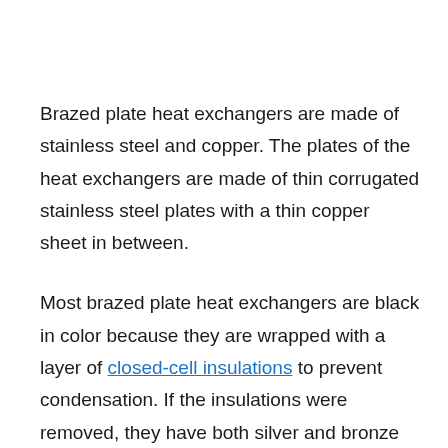Brazed plate heat exchangers are made of stainless steel and copper. The plates of the heat exchangers are made of thin corrugated stainless steel plates with a thin copper sheet in between.
Most brazed plate heat exchangers are black in color because they are wrapped with a layer of closed-cell insulations to prevent condensation. If the insulations were removed, they have both silver and bronze colors due to stainless steel and copper materials.